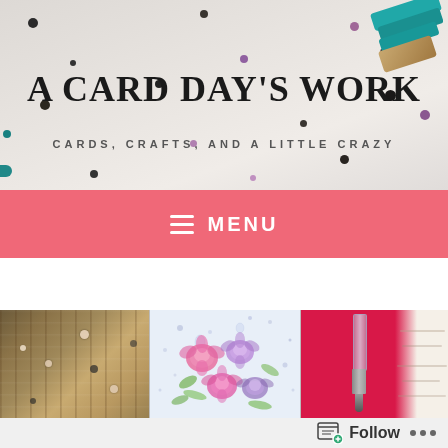[Figure (screenshot): Blog header banner for 'A Card Day's Work' with craft supplies, sequin dots, and teal stamp/brush in top right corner on light grey background]
A CARD DAY'S WORK
CARDS, CRAFTS, AND A LITTLE CRAZY
≡  MENU
[Figure (photo): Three-panel photo gallery row: left panel shows birch bark wood texture with sequins, center panel shows a handmade card with pink and purple watercolor flowers and ink spatters, right panel shows deep pink/magenta background with a water brush pen and white birch texture at right edge]
Follow  •••